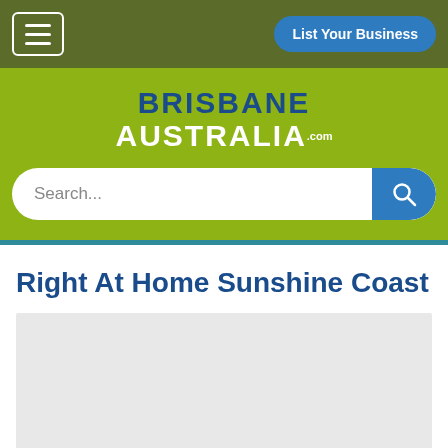List Your Business
BRISBANE AUSTRALIA.com
Search...
Right At Home Sunshine Coast
[Figure (photo): Light grey placeholder image area below the page title]